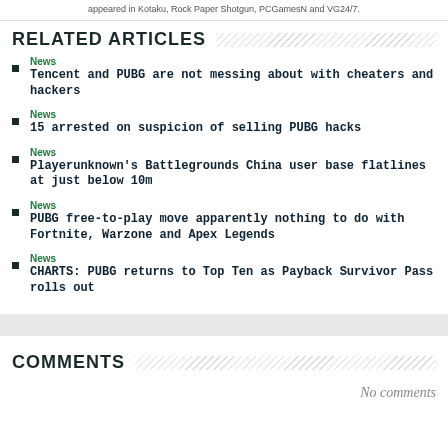appeared in Kotaku, Rock Paper Shotgun, PCGamesN and VG24/7.
RELATED ARTICLES
News
Tencent and PUBG are not messing about with cheaters and hackers
News
15 arrested on suspicion of selling PUBG hacks
News
Playerunknown's Battlegrounds China user base flatlines at just below 10m
News
PUBG free-to-play move apparently nothing to do with Fortnite, Warzone and Apex Legends
News
CHARTS: PUBG returns to Top Ten as Payback Survivor Pass rolls out
COMMENTS
No comments